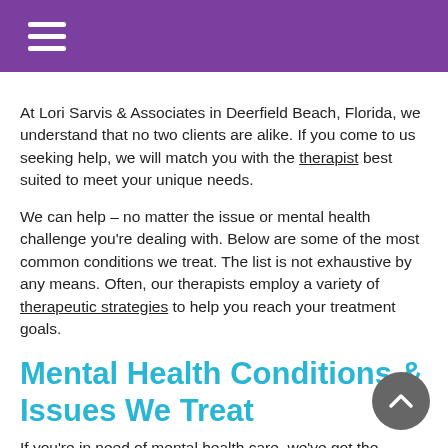☰ (hamburger menu icon)
At Lori Sarvis & Associates in Deerfield Beach, Florida, we understand that no two clients are alike. If you come to us seeking help, we will match you with the therapist best suited to meet your unique needs.
We can help – no matter the issue or mental health challenge you're dealing with. Below are some of the most common conditions we treat. The list is not exhaustive by any means. Often, our therapists employ a variety of therapeutic strategies to help you reach your treatment goals.
Mental Health Conditions & Issues We Treat
If you're in need of mental health care, we've got the